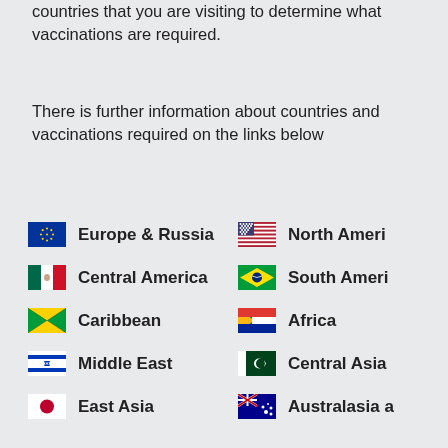countries that you are visiting to determine what vaccinations are required.
There is further information about countries and vaccinations required on the links below
Europe & Russia
North Ameri...
Central America
South Ameri...
Caribbean
Africa
Middle East
Central Asia
East Asia
Australasia a...